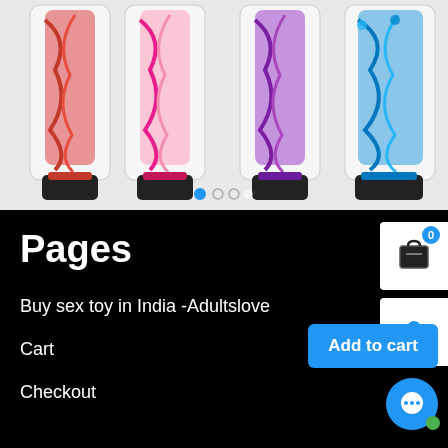[Figure (photo): Four translucent vibrator products in red, pink, purple, and blue colors with black bases, displayed side by side on a white/light background]
Pages
Buy sex toy in India -Adultslove
Cart
Checkout